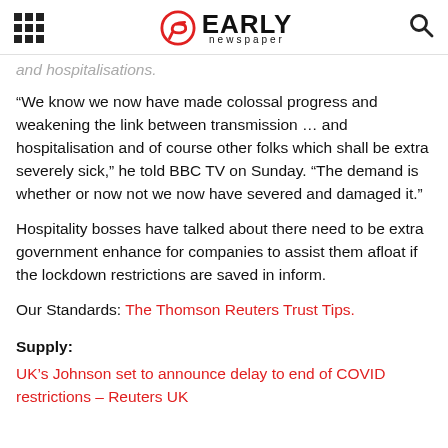Early Newspaper
and hospitalisations.
“We know we now have made colossal progress and weakening the link between transmission … and hospitalisation and of course other folks which shall be extra severely sick,” he told BBC TV on Sunday. “The demand is whether or now not we now have severed and damaged it.”
Hospitality bosses have talked about there need to be extra government enhance for companies to assist them afloat if the lockdown restrictions are saved in inform.
Our Standards: The Thomson Reuters Trust Tips.
Supply:
UK’s Johnson set to announce delay to end of COVID restrictions – Reuters UK